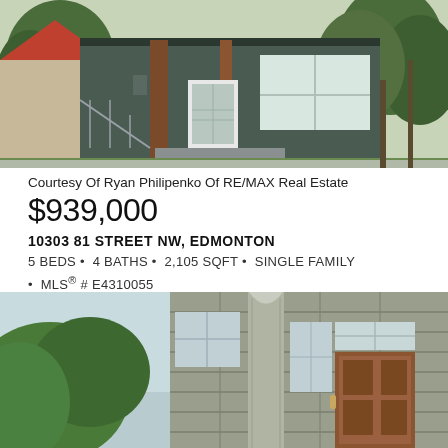[Figure (photo): Exterior photo of a modern single-family home with dark grey siding, wood accents, white front door, and concrete steps. Trees visible in background.]
Courtesy Of Ryan Philipenko Of RE/MAX Real Estate
$939,000
10303 81 STREET NW, EDMONTON
5 BEDS • 4 BATHS • 2,105 SQFT • SINGLE FAMILY • MLS® # E4310055
[Figure (photo): Exterior photo of a two-storey home with stone/tile cladding, large windows, and a brown wooden front door with house number 10535.]